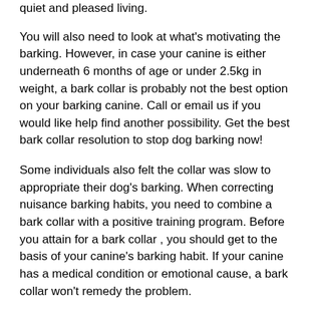quiet and pleased living.
You will also need to look at what's motivating the barking. However, in case your canine is either underneath 6 months of age or under 2.5kg in weight, a bark collar is probably not the best option on your barking canine. Call or email us if you would like help find another possibility. Get the best bark collar resolution to stop dog barking now!
Some individuals also felt the collar was slow to appropriate their dog's barking. When correcting nuisance barking habits, you need to combine a bark collar with a positive training program. Before you attain for a bark collar , you should get to the basis of your canine's barking habit. If your canine has a medical condition or emotional cause, a bark collar won't remedy the problem.
Factors I Hate Best Bark Collar
For this cause, it's essential to know when it's applicable to activate the gadget. If it's activated too early or too late, it is probably not efficient. It's important to notice that although this device works for dogs of all sizes, it should built be used